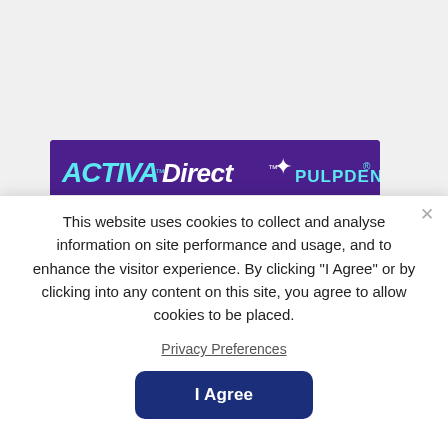[Figure (logo): ACTIVA BioACTIVE Direct brand logo with PULPDENT on a purple/violet banner background]
This website uses cookies to collect and analyse information on site performance and usage, and to enhance the visitor experience. By clicking "I Agree" or by clicking into any content on this site, you agree to allow cookies to be placed.
Privacy Preferences
I Agree